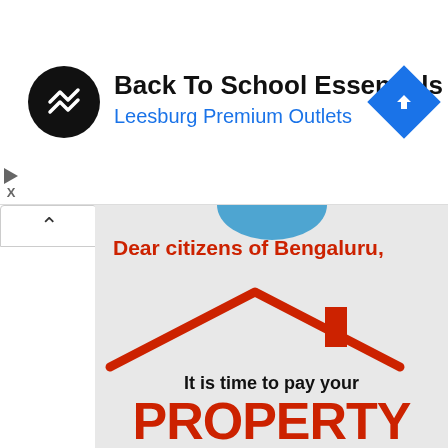[Figure (screenshot): Advertisement banner for Back To School Essentials at Leesburg Premium Outlets with logo and navigation icon]
Back To School Essentials
Leesburg Premium Outlets
[Figure (illustration): Government property tax notice with house roof illustration for Bengaluru citizens]
Dear citizens of Bengaluru,
It is time to pay your
PROPERTY TAX
for the year